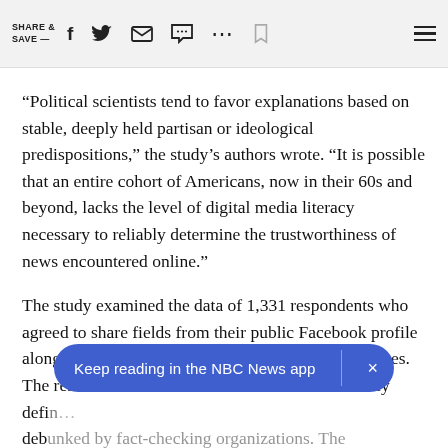SHARE & SAVE —  [social icons: Facebook, Twitter, Email, Comment, More, Bookmark, Menu]
“Political scientists tend to favor explanations based on stable, deeply held partisan or ideological predispositions,” the study’s authors wrote. “It is possible that an entire cohort of Americans, now in their 60s and beyond, lacks the level of digital media literacy necessary to reliably determine the trustworthiness of news encountered online.”
The study examined the data of 1,331 respondents who agreed to share fields from their public Facebook profile along with their timeline posts, external links and likes. The researchers looked for links to a list of narrowly defined … debunked by fact-checking organizations. The
Keep reading in the NBC News app  ×